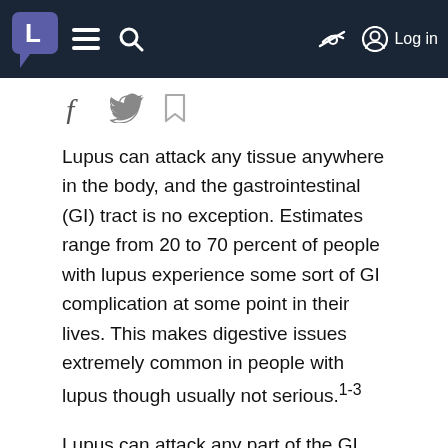L  ≡  🔍  [no-eye icon]  [user icon] Log in
[Figure (screenshot): Social sharing icons: Facebook (f), Twitter (bird), Bookmark]
Lupus can attack any tissue anywhere in the body, and the gastrointestinal (GI) tract is no exception. Estimates range from 20 to 70 percent of people with lupus experience some sort of GI complication at some point in their lives. This makes digestive issues extremely common in people with lupus though usually not serious.1-3
Lupus can attack any part of the GI system, including the stomach, intestines, liver,